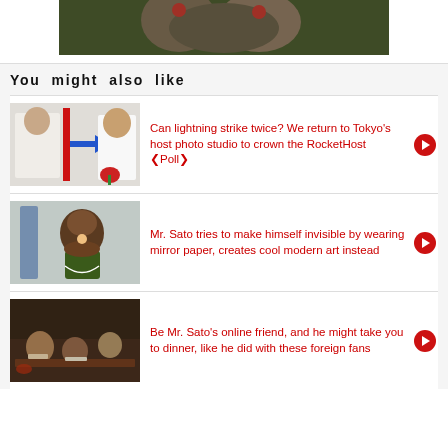[Figure (photo): Top photo showing people with red clown noses, partially visible at top of page]
You might also like
[Figure (photo): Man and woman in white clothing, before/after style photo with blue arrow and red rose]
Can lightning strike twice? We return to Tokyo's host photo studio to crown the RocketHost ❮Poll❯
[Figure (photo): Smiling man holding mirror paper in a room]
Mr. Sato tries to make himself invisible by wearing mirror paper, creates cool modern art instead
[Figure (photo): Group of people dining at a restaurant table]
Be Mr. Sato's online friend, and he might take you to dinner, like he did with these foreign fans